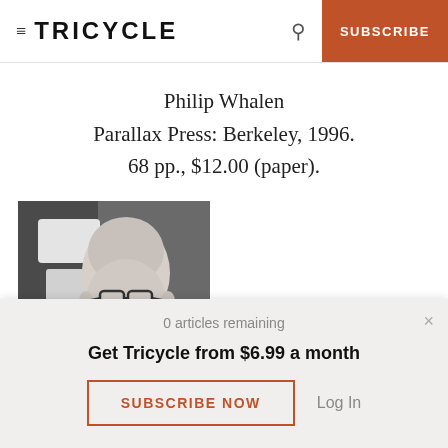TRICYCLE | SUBSCRIBE
Philip Whalen
Parallax Press: Berkeley, 1996.
68 pp., $12.00 (paper).
[Figure (photo): Black and white portrait photo of an elderly bald man wearing glasses, seated, with a blurred background.]
0 articles remaining
Get Tricycle from $6.99 a month
SUBSCRIBE NOW
Log In